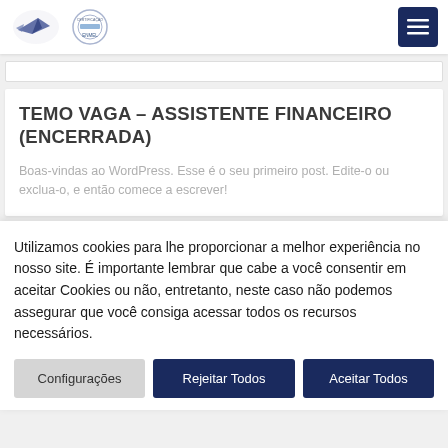Header with logos and menu button
TEMO VAGA – ASSISTENTE FINANCEIRO (ENCERRADA)
Boas-vindas ao WordPress. Esse é o seu primeiro post. Edite-o ou exclua-o, e então comece a escrever!
Utilizamos cookies para lhe proporcionar a melhor experiência no nosso site. É importante lembrar que cabe a você consentir em aceitar Cookies ou não, entretanto, neste caso não podemos assegurar que você consiga acessar todos os recursos necessários.